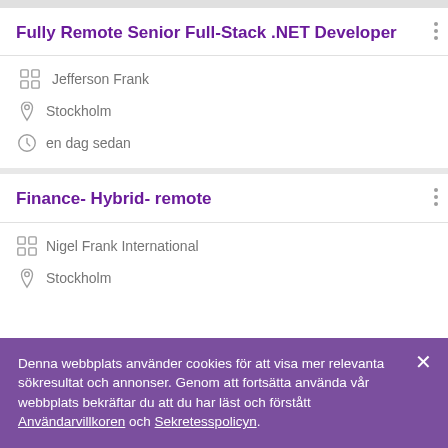Fully Remote Senior Full-Stack .NET Developer
Jefferson Frank
Stockholm
en dag sedan
Finance- Hybrid- remote
Nigel Frank International
Stockholm
Denna webbplats använder cookies för att visa mer relevanta sökresultat och annonser. Genom att fortsätta använda vår webbplats bekräftar du att du har läst och förstått Användarvillkoren och Sekretesspolicyn.